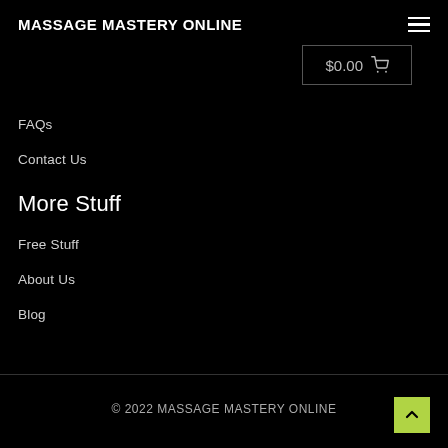MASSAGE MASTERY ONLINE
$0.00
FAQs
Contact Us
More Stuff
Free Stuff
About Us
Blog
© 2022 MASSAGE MASTERY ONLINE